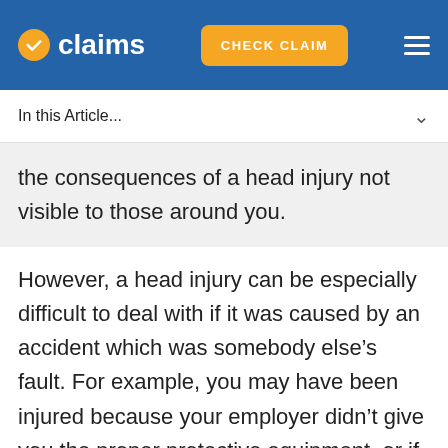claims | CHECK CLAIM
In this Article...
the consequences of a head injury not visible to those around you.
However, a head injury can be especially difficult to deal with if it was caused by an accident which was somebody else’s fault. For example, you may have been injured because your employer didn’t give you the proper protective equipment, or if you suffered from a road accident caused by somebody else.